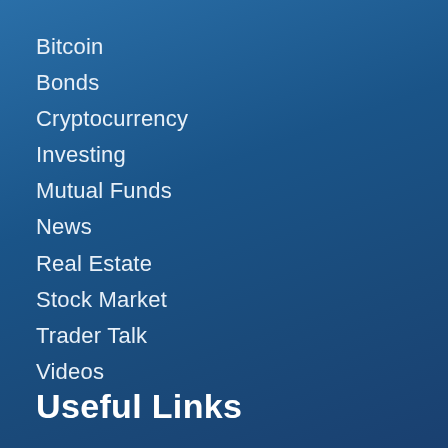Bitcoin
Bonds
Cryptocurrency
Investing
Mutual Funds
News
Real Estate
Stock Market
Trader Talk
Videos
Useful Links